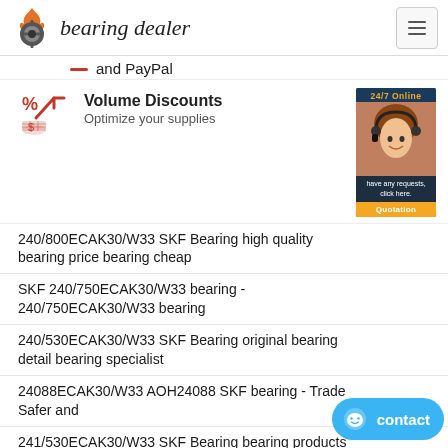bearing dealer
and PayPal
[Figure (logo): Volume Discounts icon with percent and arrow symbols in red]
Volume Discounts
Optimize your supplies
240/800ECAK30/W33 SKF Bearing high quality bearing price bearing cheap
SKF 240/750ECAK30/W33 bearing - 240/750ECAK30/W33 bearing
240/530ECAK30/W33 SKF Bearing original bearing detail bearing specialist
24088ECAK30/W33 AOH24088 SKF bearing - Trade Safer and
241/530ECAK30/W33 SKF Bearing bearing products quality bearing delivery
Buy AOH240/500 (240/500ECAK30/W33 2 240/500CCK
240/600ECAK30/W33 SKF Bearing original bearing